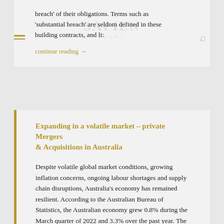breach' of their obligations. Terms such as 'substantial breach' are seldom defined in these building contracts, and li:
continue reading →
Expanding in a volatile market – private Mergers & Acquisitions in Australia
Despite volatile global market conditions, growing inflation concerns, ongoing labour shortages and supply chain disruptions, Australia's economy has remained resilient. According to the Australian Bureau of Statistics, the Australian economy grew 0.8% during the March quarter of 2022 and 3.3% over the past year. The Reserve Bank of Australia forecasted, in its Statement on Monetary